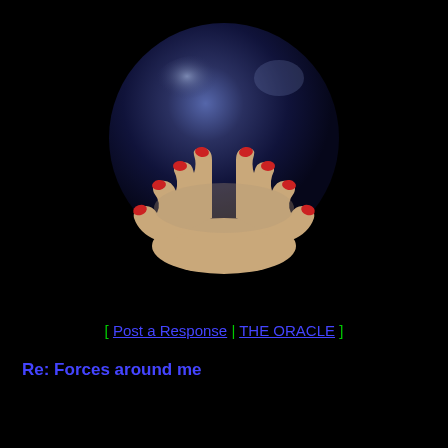[Figure (illustration): A dark navy/black crystal ball held by hands with red fingernails, rendered in a painted/illustrated style against a black background.]
[ Post a Response | THE ORACLE ]
Re: Forces around me